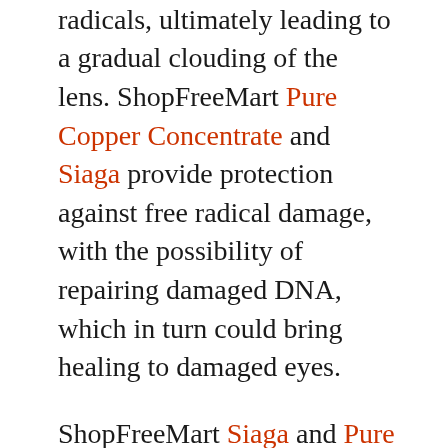proteins are altered by free radicals, ultimately leading to a gradual clouding of the lens. ShopFreeMart Pure Copper Concentrate and Siaga provide protection against free radical damage, with the possibility of repairing damaged DNA, which in turn could bring healing to damaged eyes.
ShopFreeMart Siaga and Pure Copper Concentrate are powerful free radical scavengers and should be used by everyone wanting to prevent free radical damage to the protein in the lens.
A study conducted on rat eye lenses in 2009